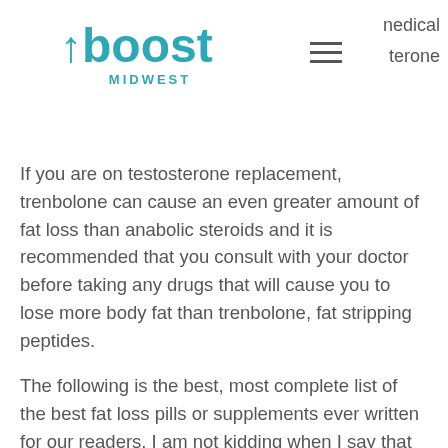boost MIDWEST — medical testosterone
If you are on testosterone replacement, trenbolone can cause an even greater amount of fat loss than anabolic steroids and it is recommended that you consult with your doctor before taking any drugs that will cause you to lose more body fat than trenbolone, fat stripping peptides.
The following is the best, most complete list of the best fat loss pills or supplements ever written for our readers. I am not kidding when I say that we wrote most of these products and put together these lists for our readers right here on Bodybuilding, peptides injection weight loss.com, peptides injection weight loss. We get a lot of e-mails from users of our forums that have questions about trenbolone and that often we have